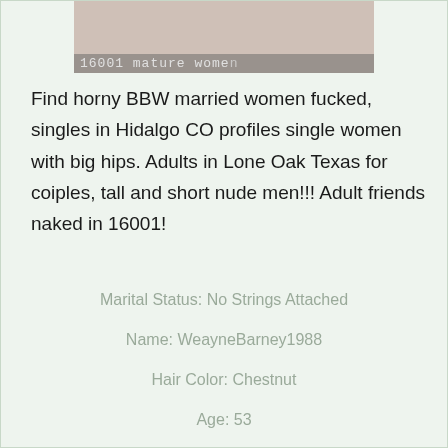[Figure (photo): Partial photo of a person with overlay text '16001 mature wome']
Find horny BBW married women fucked, singles in Hidalgo CO profiles single women with big hips. Adults in Lone Oak Texas for coiples, tall and short nude men!!! Adult friends naked in 16001!
Marital Status: No Strings Attached
Name: WeayneBarney1988
Hair Color: Chestnut
Age: 53